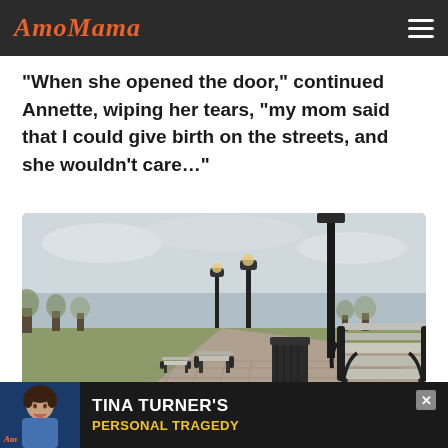AmoMama
“When she opened the door,” continued Annette, wiping her tears, “my mom said that I could give birth on the streets, and she wouldn’t care…”
[Figure (photo): Park walkway lined with benches and lamp posts on a cloudy day, with bare trees in the background]
[Figure (infographic): Advertisement banner for Tina Turner's Personal Tragedy featuring a photo of Tina Turner]